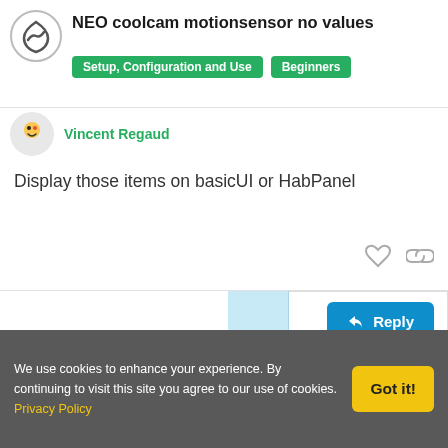NEO coolcam motionsensor no values
Setup, Configuration and Use  Beginners
Vincent Regaud
Display those items on basicUI or HabPanel
4 / 4
Suggested Topics
OpenHab not opening in browser
Beginners  Sep '21  1
We use cookies to enhance your experience. By continuing to visit this site you agree to our use of cookies. Privacy Policy